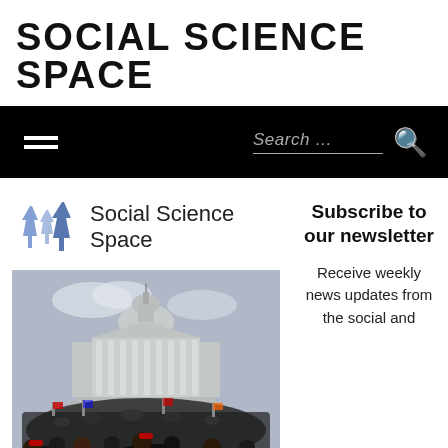SOCIAL SCIENCE SPACE
Search …
[Figure (logo): Social Science Space logo with blue figure silhouettes]
Social Science Space
[Figure (photo): Crowd of people gathered on the steps of the US Capitol building]
Subscribe to our newsletter
Receive weekly news updates from the social and